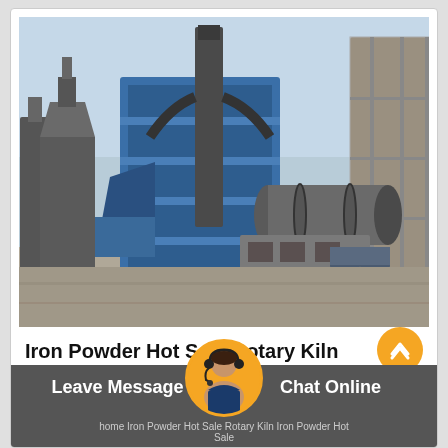[Figure (photo): Industrial rotary kiln facility exterior showing large blue metal structures, silos, pipes, and a large cylindrical rotary kiln drum on supports, with a concrete building on the right side, photographed in daylight.]
Iron Powder Hot Sale Rotary Kiln
Leave Message  Chat Online  home Iron Powder Hot Sale Rotary Kiln Iron Powder Hot Sale